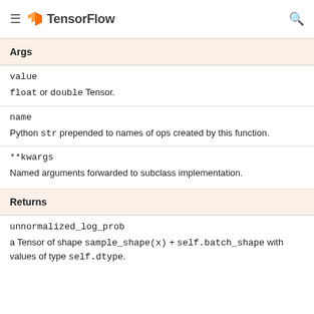TensorFlow
Args
value
float or double Tensor.
name
Python str prepended to names of ops created by this function.
**kwargs
Named arguments forwarded to subclass implementation.
Returns
unnormalized_log_prob
a Tensor of shape sample_shape(x) + self.batch_shape with values of type self.dtype.